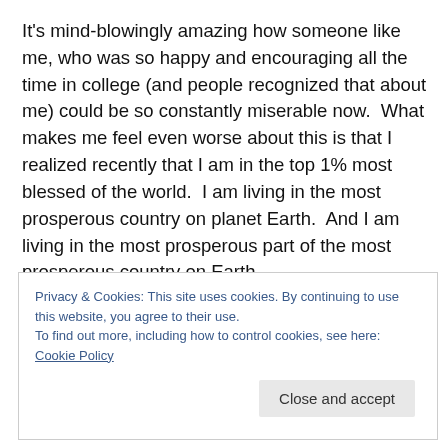It's mind-blowingly amazing how someone like me, who was so happy and encouraging all the time in college (and people recognized that about me) could be so constantly miserable now.  What makes me feel even worse about this is that I realized recently that I am in the top 1% most blessed of the world.  I am living in the most prosperous country on planet Earth.  And I am living in the most prosperous part of the most prosperous country on Earth,
Privacy & Cookies: This site uses cookies. By continuing to use this website, you agree to their use.
To find out more, including how to control cookies, see here: Cookie Policy